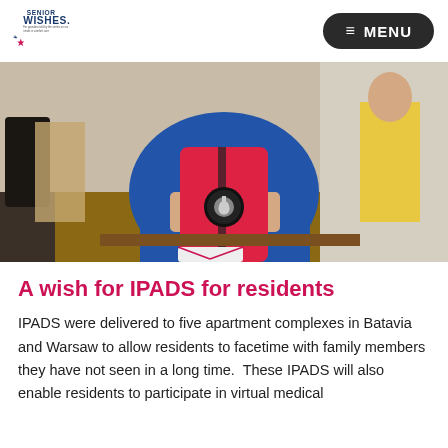Senior Wishes | MENU
[Figure (photo): Person in blue floral shirt holding a red iPad case with Apple logo, seated at a table in a community room setting]
A wish for IPADS for residents
IPADS were delivered to five apartment complexes in Batavia and Warsaw to allow residents to facetime with family members they have not seen in a long time.  These IPADS will also enable residents to participate in virtual medical